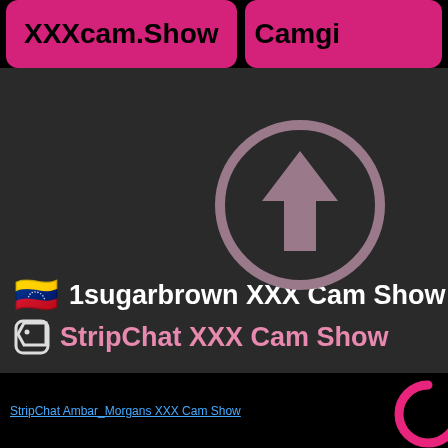XXXcam.Show | Camgi
[Figure (screenshot): Dark card with upload arrow circle icon, Venezuelan flag emoji, title '1sugarbrown XXX Cam Show', tag icon and subtitle 'StripChat XXX Cam Show']
🇻🇪 1sugarbrown XXX Cam Show
StripChat XXX Cam Show
[Figure (screenshot): Bottom strip showing alt text 'StripChat Ambar_Morgans XXX Cam Show' and a loading circle (pink C) on the right]